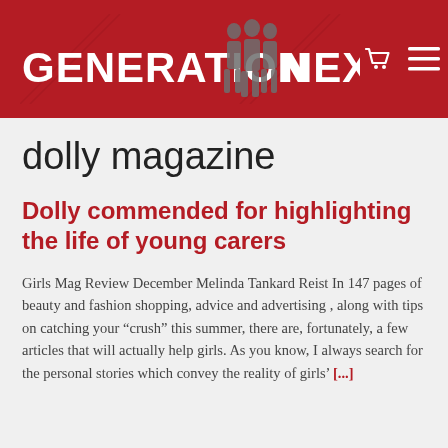GENERATION NEXT
dolly magazine
Dolly commended for highlighting the life of young carers
Girls Mag Review December Melinda Tankard Reist In 147 pages of beauty and fashion shopping, advice and advertising , along with tips on catching your “crush” this summer, there are, fortunately, a few articles that will actually help girls. As you know, I always search for the personal stories which convey the reality of girls’ [...]